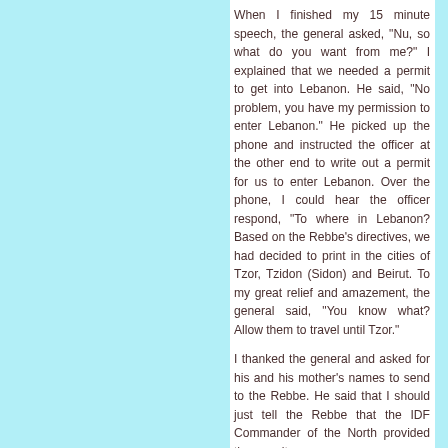When I finished my 15 minute speech, the general asked, "Nu, so what do you want from me?" I explained that we needed a permit to get into Lebanon. He said, "No problem, you have my permission to enter Lebanon." He picked up the phone and instructed the officer at the other end to write out a permit for us to enter Lebanon. Over the phone, I could hear the officer respond, "To where in Lebanon? Based on the Rebbe's directives, we had decided to print in the cities of Tzor, Tzidon (Sidon) and Beirut. To my great relief and amazement, the general said, "You know what? Allow them to travel until Tzor."
I thanked the general and asked for his and his mother's names to send to the Rebbe. He said that I should just tell the Rebbe that the IDF Commander of the North provided the permit.
I headed to a nearby building to